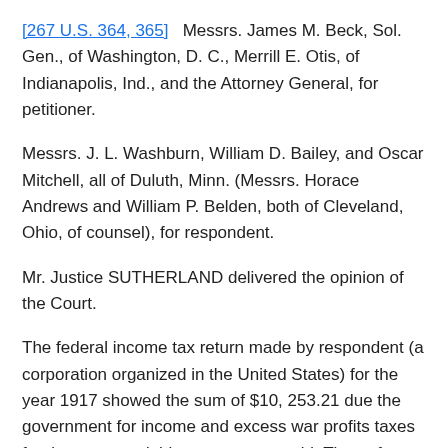[267 U.S. 364, 365]   Messrs. James M. Beck, Sol. Gen., of Washington, D. C., Merrill E. Otis, of Indianapolis, Ind., and the Attorney General, for petitioner.
Messrs. J. L. Washburn, William D. Bailey, and Oscar Mitchell, all of Duluth, Minn. (Messrs. Horace Andrews and William P. Belden, both of Cleveland, Ohio, of counsel), for respondent.
Mr. Justice SUTHERLAND delivered the opinion of the Court.
The federal income tax return made by respondent (a corporation organized in the United States) for the year 1917 showed the sum of $10, 253.21 due the government for income and excess war profits taxes for that year, and this amount was paid. Thereafter the Commissioner of Internal Revenue assessed respondent with an additional tax of $17,128.44, which respondent was forced to pay, and did